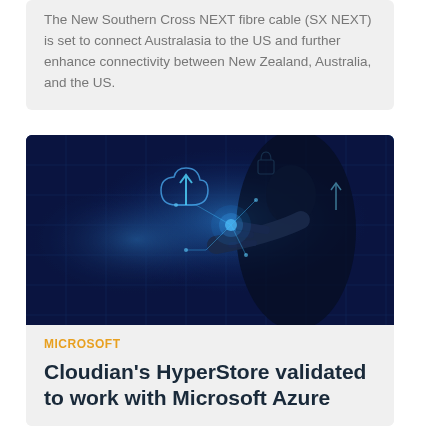The New Southern Cross NEXT fibre cable (SX NEXT) is set to connect Australasia to the US and further enhance connectivity between New Zealand, Australia, and the US.
[Figure (photo): Dark blue technology image showing a person in a suit touching a glowing digital interface with cloud and arrow icons, representing cloud computing and connectivity.]
MICROSOFT
Cloudian's HyperStore validated to work with Microsoft Azure